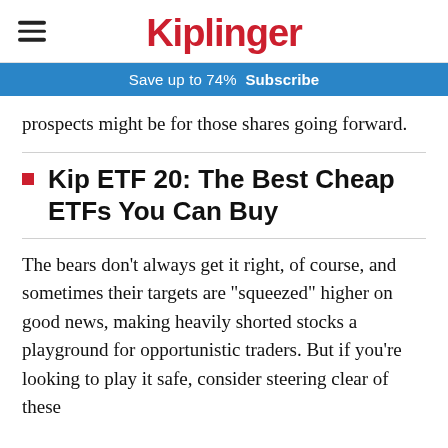Kiplinger
Save up to 74%  Subscribe
prospects might be for those shares going forward.
Kip ETF 20: The Best Cheap ETFs You Can Buy
The bears don't always get it right, of course, and sometimes their targets are "squeezed" higher on good news, making heavily shorted stocks a playground for opportunistic traders. But if you're looking to play it safe, consider steering clear of these